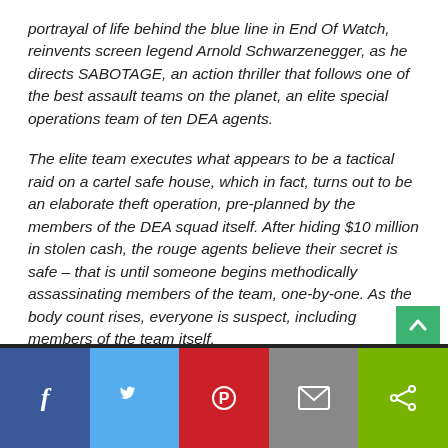portrayal of life behind the blue line in End Of Watch, reinvents screen legend Arnold Schwarzenegger, as he directs SABOTAGE, an action thriller that follows one of the best assault teams on the planet, an elite special operations team of ten DEA agents.
The elite team executes what appears to be a tactical raid on a cartel safe house, which in fact, turns out to be an elaborate theft operation, pre-planned by the members of the DEA squad itself. After hiding $10 million in stolen cash, the rouge agents believe their secret is safe – that is until someone begins methodically assassinating members of the team, one-by-one. As the body count rises, everyone is suspect, including members of the team itself.